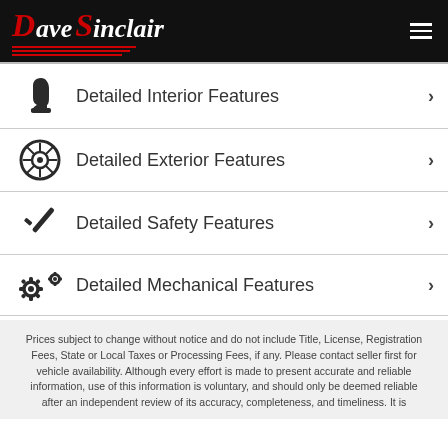Dave Sinclair
Detailed Interior Features
Detailed Exterior Features
Detailed Safety Features
Detailed Mechanical Features
Prices subject to change without notice and do not include Title, License, Registration Fees, State or Local Taxes or Processing Fees, if any. Please contact seller first for vehicle availability. Although every effort is made to present accurate and reliable information, use of this information is voluntary, and should only be deemed reliable after an independent review of its accuracy, completeness, and timeliness. It is